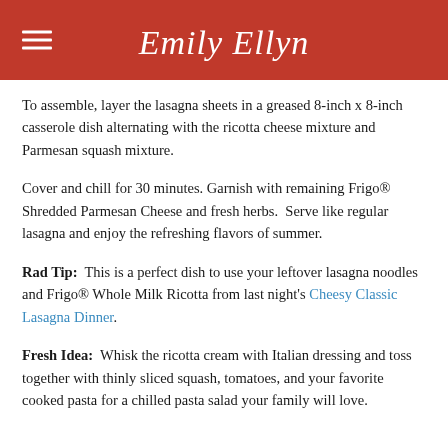Emily Ellyn
To assemble, layer the lasagna sheets in a greased 8-inch x 8-inch casserole dish alternating with the ricotta cheese mixture and Parmesan squash mixture.
Cover and chill for 30 minutes. Garnish with remaining Frigo® Shredded Parmesan Cheese and fresh herbs.  Serve like regular lasagna and enjoy the refreshing flavors of summer.
Rad Tip:  This is a perfect dish to use your leftover lasagna noodles and Frigo® Whole Milk Ricotta from last night's Cheesy Classic Lasagna Dinner.
Fresh Idea:  Whisk the ricotta cream with Italian dressing and toss together with thinly sliced squash, tomatoes, and your favorite cooked pasta for a chilled pasta salad your family will love.